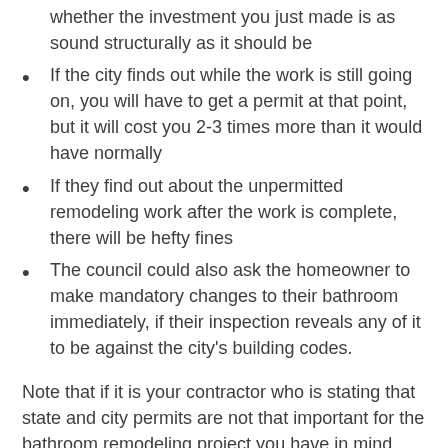whether the investment you just made is as sound structurally as it should be
If the city finds out while the work is still going on, you will have to get a permit at that point, but it will cost you 2-3 times more than it would have normally
If they find out about the unpermitted remodeling work after the work is complete, there will be hefty fines
The council could also ask the homeowner to make mandatory changes to their bathroom immediately, if their inspection reveals any of it to be against the city's building codes.
Note that if it is your contractor who is stating that state and city permits are not that important for the bathroom remodeling project you have in mind, they are not worth working with. It is quite likely that they themselves lack the proper licenses to take on the project, or they have unlicensed workers in their crew. Therefore, it is completely against your interests to skip the legal obligations